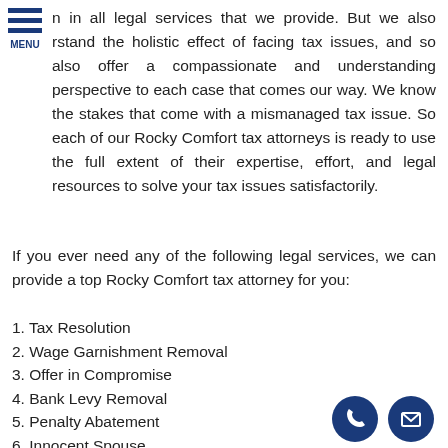[Figure (logo): Blue hamburger menu icon with three horizontal bars and MENU label]
n in all legal services that we provide. But we also rstand the holistic effect of facing tax issues, and so also offer a compassionate and understanding perspective to each case that comes our way. We know the stakes that come with a mismanaged tax issue. So each of our Rocky Comfort tax attorneys is ready to use the full extent of their expertise, effort, and legal resources to solve your tax issues satisfactorily.
If you ever need any of the following legal services, we can provide a top Rocky Comfort tax attorney for you:
1. Tax Resolution
2. Wage Garnishment Removal
3. Offer in Compromise
4. Bank Levy Removal
5. Penalty Abatement
6. Innocent Spouse
7. Audit Representation
8. Tax Preparation
9. Tax Lien Removal
[Figure (illustration): Two dark blue circular icons: a phone icon and an email/envelope icon]